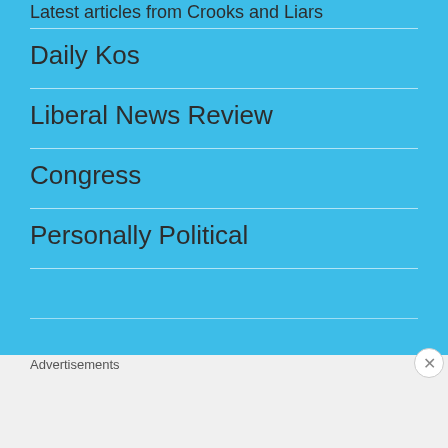Latest articles from Crooks and Liars
Daily Kos
Liberal News Review
Congress
Personally Political
[Figure (screenshot): Follow Stevesovie Thinks button with WordPress logo]
Advertisements
[Figure (screenshot): DuckDuckGo advertisement banner: Search, browse, and email with more privacy. All in One Free App]